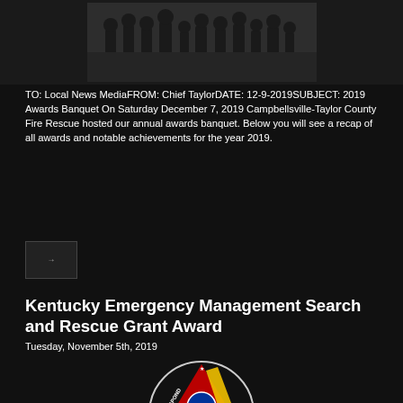[Figure (photo): Group photo of people at an awards banquet event]
TO: Local News MediaFROM: Chief TaylorDATE: 12-9-2019SUBJECT: 2019 Awards Banquet On Saturday December 7, 2019 Campbellsville-Taylor County Fire Rescue hosted our annual awards banquet. Below you will see a recap of all awards and notable achievements for the year 2019.
[Figure (photo): Small thumbnail image]
Kentucky Emergency Management Search and Rescue Grant Award
Tuesday, November 5th, 2019
[Figure (logo): Commonwealth of Kentucky Division of Emergency Management logo — circular logo with triangle showing RESPOND, RECOVER, PREPARE and EM in center]